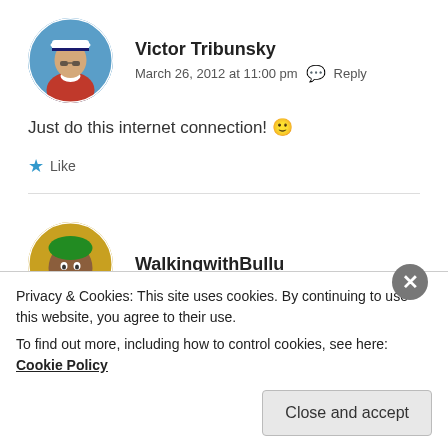[Figure (photo): Circular avatar photo of Victor Tribunsky, a man in a white captain's hat and red shirt against a blue sky background]
Victor Tribunsky
March 26, 2012 at 11:00 pm  Reply
Just do this internet connection! 🙂
★ Like
[Figure (photo): Circular avatar photo of WalkingwithBullu, a smiling person with colorful attire]
WalkingwithBullu
Privacy & Cookies: This site uses cookies. By continuing to use this website, you agree to their use.
To find out more, including how to control cookies, see here: Cookie Policy
Close and accept